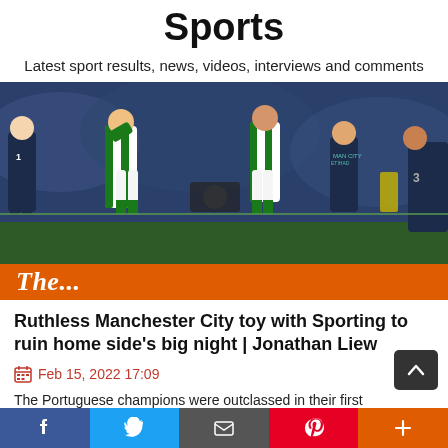Sports
Latest sport results, news, videos, interviews and comments
[Figure (photo): Football players from Sporting CP (green and white striped kit) and Manchester City (dark navy kit) on the pitch. Two Sporting players appear dejected, covering their faces or looking downward. Manchester City players are visible on the right side. The Guardian logo overlay appears at the bottom of the image.]
Ruthless Manchester City toy with Sporting to ruin home side's big night | Jonathan Liew
Feb 15, 2022 17:09
The Portuguese champions were outclassed in their first Champions League knockout match since 2009